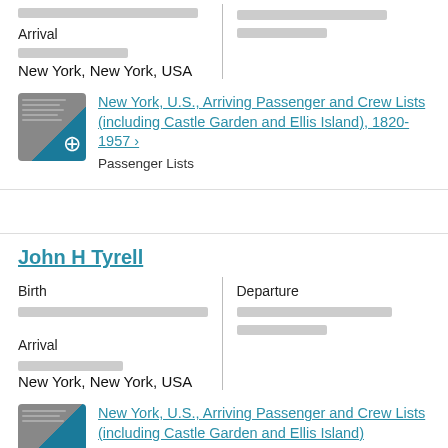[redacted]
[redacted]
Arrival
[redacted]
New York, New York, USA
New York, U.S., Arriving Passenger and Crew Lists (including Castle Garden and Ellis Island), 1820-1957 ›
Passenger Lists
John H Tyrell
Birth
Departure
[redacted]
[redacted]
Arrival
[redacted]
New York, New York, USA
New York, U.S., Arriving Passenger and Crew Lists (including Castle Garden and Ellis Island)